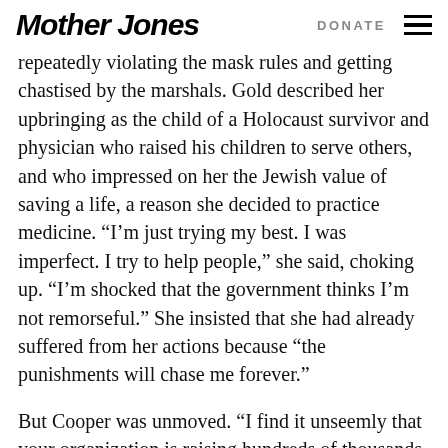Mother Jones | DONATE
repeatedly violating the mask rules and getting chastised by the marshals. Gold described her upbringing as the child of a Holocaust survivor and physician who raised his children to serve others, and who impressed on her the Jewish value of saving a life, a reason she decided to practice medicine. “I’m just trying my best. I was imperfect. I try to help people,” she said, choking up. “I’m shocked that the government thinks I’m not remorseful.” She insisted that she had already suffered from her actions because “the punishments will chase me forever.”
But Cooper was unmoved. “I find it unseemly that your organization is raising hundreds of thousands